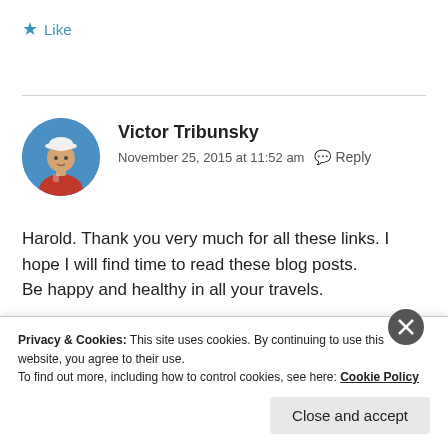★ Like
Victor Tribunsky
November 25, 2015 at 11:52 am   Reply
Harold. Thank you very much for all these links. I hope I will find time to read these blog posts.
Be happy and healthy in all your travels.
Privacy & Cookies: This site uses cookies. By continuing to use this website, you agree to their use.
To find out more, including how to control cookies, see here: Cookie Policy
Close and accept